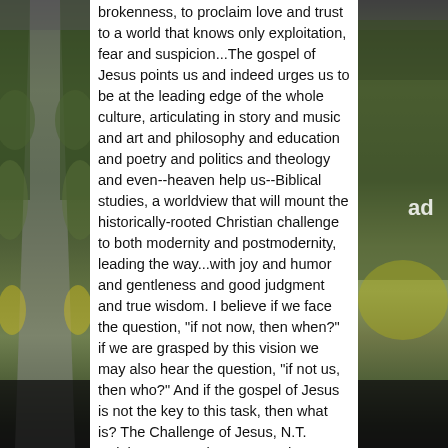[Figure (photo): Background photo of a rural road with green hedges and fields on both sides, visible on the left and right edges of the page behind a white text panel.]
brokenness, to proclaim love and trust to a world that knows only exploitation, fear and suspicion...The gospel of Jesus points us and indeed urges us to be at the leading edge of the whole culture, articulating in story and music and art and philosophy and education and poetry and politics and theology and even--heaven help us--Biblical studies, a worldview that will mount the historically-rooted Christian challenge to both modernity and postmodernity, leading the way...with joy and humor and gentleness and good judgment and true wisdom. I believe if we face the question, "if not now, then when?" if we are grasped by this vision we may also hear the question, "if not us, then who?" And if the gospel of Jesus is not the key to this task, then what is? The Challenge of Jesus, N.T. Wright ***** "We have entered, as I see it, a spiritual limbo. Our educational institutions are no longer the bearers of high culture, and public life has been deliberately moronised. But here and there, sheltered from the noise and glare of the media, the old spiritual forces are at work" Roger Scruton